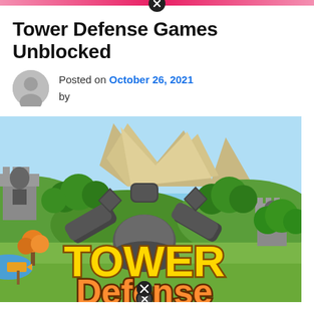Tower Defense Games Unblocked
Posted on October 26, 2021 by
[Figure (illustration): Tower Defense game splash image showing a colorful castle defense game environment with towers, trees, rocks, and the text TOWER Defense in large yellow and orange stylized letters. Dark cannon/crossbow towers visible in the center foreground.]